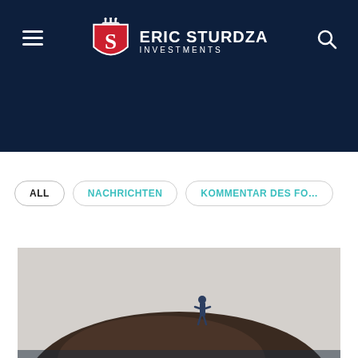Eric Sturdza Investments
ALL
NACHRICHTEN
KOMMENTAR DES FO...
[Figure (photo): A small figure of a person in a blue suit standing on top of a large dark rounded hill or rock formation against a grey sky background.]